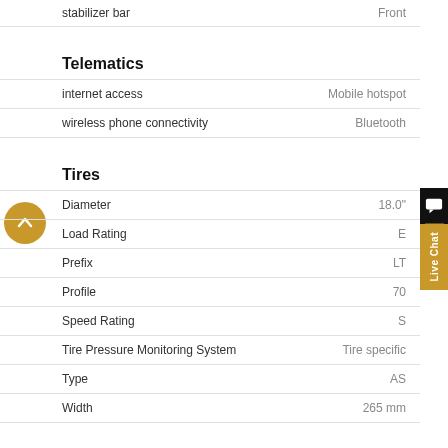| Feature | Value |
| --- | --- |
| stabilizer bar | Front |
Telematics
| Feature | Value |
| --- | --- |
| internet access | Mobile hotspot |
| wireless phone connectivity | Bluetooth |
Tires
| Feature | Value |
| --- | --- |
| Diameter | 18.0" |
| Load Rating | E |
| Prefix | LT |
| Profile | 70 |
| Speed Rating | S |
| Tire Pressure Monitoring System | Tire specific |
| Type | AS |
| Width | 265 mm |
Towing and Hauling
| Feature | Value |
| --- | --- |
| Trailer hitch | Trailer hitch |